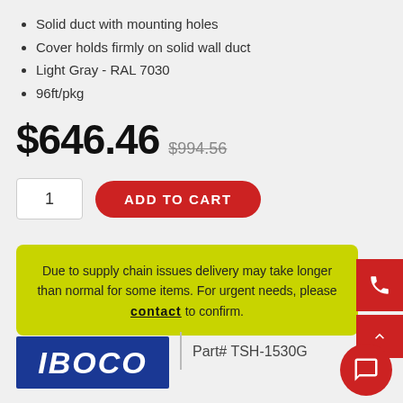Solid duct with mounting holes
Cover holds firmly on solid wall duct
Light Gray - RAL 7030
96ft/pkg
$646.46  $994.56 (strikethrough)
ADD TO CART, quantity 1
Due to supply chain issues delivery may take longer than normal for some items. For urgent needs, please contact to confirm.
[Figure (logo): IBOCO logo in white italic text on blue rectangle background]
Part# TSH-1530G